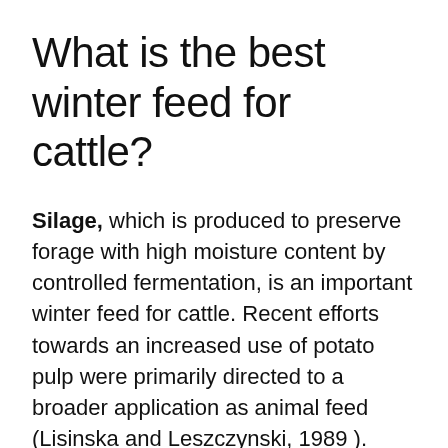What is the best winter feed for cattle?
Silage, which is produced to preserve forage with high moisture content by controlled fermentation, is an important winter feed for cattle. Recent efforts towards an increased use of potato pulp were primarily directed to a broader application as animal feed (Lisinska and Leszczynski, 1989 ). Okine et al. (2005) studied the effect of addition of two bacterial inoculants as Lactobacillus rhamnosus and Rhizopus oryzae at ensiling on the fermentation quality, change in nutrient composition, and the nutritive value of potato pulp silage